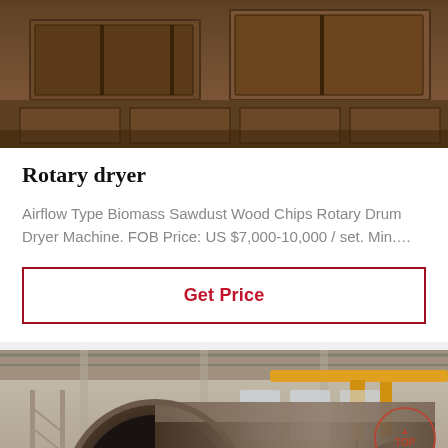[Figure (photo): Close-up photo of industrial wooden molds or forms in a manufacturing facility, warm brown tones.]
Rotary dryer
Airflow Type Biomass Sawdust Wood Chips Rotary Drum Dryer Machine. FOB Price: US $7,000-10,000 / set. Min....
Get Price
[Figure (photo): Industrial factory interior showing large rotary drum/cylinder machinery on the floor of a manufacturing hall with overhead crane, yellow crane structure visible in background, TOP watermark in lower right.]